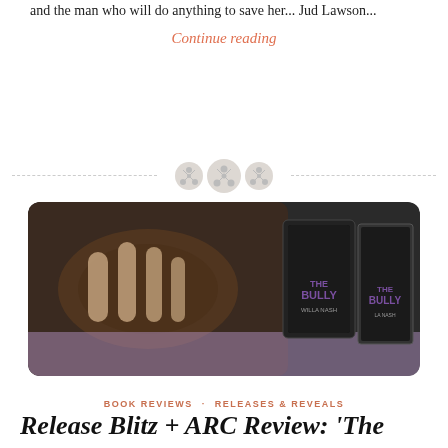and the man who will do anything to save her... Jud Lawson...
Continue reading
[Figure (illustration): Three decorative button icons on a dashed horizontal divider line]
[Figure (photo): Book cover promotional image for 'The Bully' by Willa Nash, showing a hand gripping a football on the left and two book mockups (tablet and print) with the title 'The Bully' by Willa Nash on a purple background on the right]
BOOK REVIEWS · RELEASES & REVEALS
Release Blitz + ARC Review: 'The